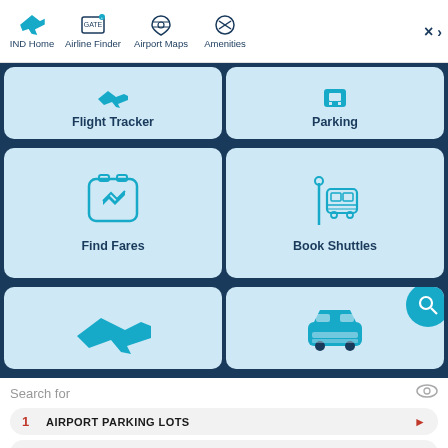[Figure (screenshot): Airport app navigation bar with IND Home, Airline Finder, Airport Maps, Amenities icons]
[Figure (screenshot): App grid showing Flight Tracker, Parking, Find Fares, Book Shuttles, and partial bottom row tiles on dark blue background]
Search for
1 AIRPORT PARKING LOTS
2 DISCOUNT AIRPORT PARKING